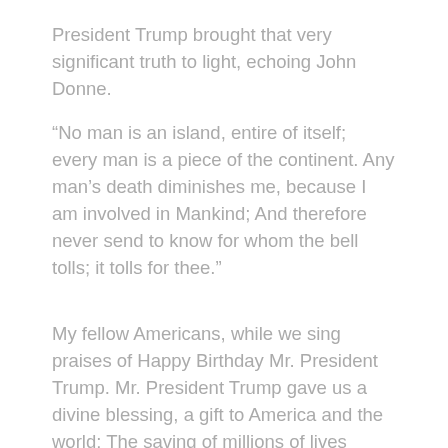President Trump brought that very significant truth to light, echoing John Donne.
“No man is an island, entire of itself; every man is a piece of the continent. Any man’s death diminishes me, because I am involved in Mankind; And therefore never send to know for whom the bell tolls; it tolls for thee.”
My fellow Americans, while we sing praises of Happy Birthday Mr. President Trump. Mr. President Trump gave us a divine blessing, a gift to America and the world: The saving of millions of lives through his God-sent program: getting